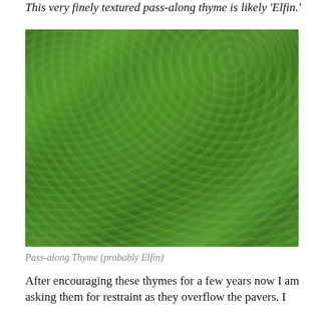This very finely textured pass-along thyme is likely 'Elfin.'
[Figure (photo): Close-up photograph of dense, low-growing elfin thyme ground cover with tiny bright green leaves forming a mossy carpet-like texture, with small purple flowers visible at the top left edge.]
Pass-along Thyme (probably Elfin)
After encouraging these thymes for a few years now I am asking them for restraint as they overflow the pavers. I